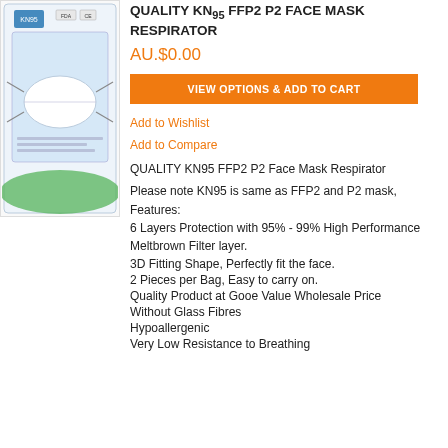[Figure (photo): Product image of KN95 FFP2 P2 Face Mask Respirator packaging showing masks in a branded bag]
QUALITY KN95 FFP2 P2 FACE MASK RESPIRATOR
AU.$0.00
VIEW OPTIONS & ADD TO CART
Add to Wishlist
Add to Compare
QUALITY KN95 FFP2 P2 Face Mask Respirator
Please note KN95 is same as FFP2 and P2 mask,
Features:
6 Layers Protection with 95% - 99% High Performance Meltbrown Filter layer.
3D Fitting Shape, Perfectly fit the face.
2 Pieces per Bag, Easy to carry on.
Quality Product at Gooe Value Wholesale Price
Without Glass Fibres
Hypoallergenic
Very Low Resistance to Breathing